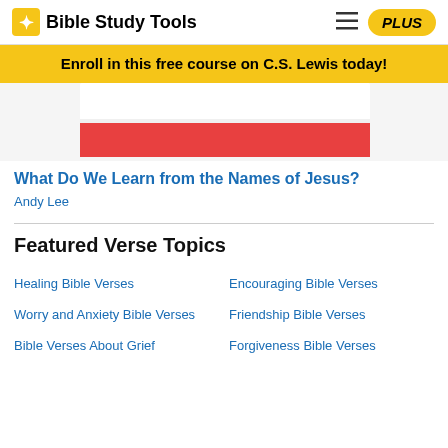Bible Study Tools | PLUS
Enroll in this free course on C.S. Lewis today!
[Figure (photo): Partial image of a book or Bible with red and white cover, cropped at the top]
What Do We Learn from the Names of Jesus?
Andy Lee
Featured Verse Topics
Healing Bible Verses
Encouraging Bible Verses
Worry and Anxiety Bible Verses
Friendship Bible Verses
Forgiveness Bible Verses
Bible Verses About Grief